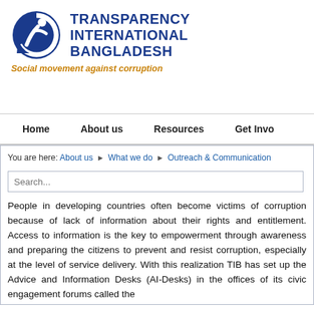[Figure (logo): Transparency International Bangladesh logo — blue circular TI emblem with figure, beside bold blue text 'TRANSPARENCY INTERNATIONAL BANGLADESH' and italic orange tagline 'Social movement against corruption']
Home   About us   Resources   Get Invo
You are here: About us ▶ What we do ▶ Outreach & Communication
Search...
People in developing countries often become victims of corruption because of lack of information about their rights and entitlement. Access to information is the key to empowerment through awareness and preparing the citizens to prevent and resist corruption, especially at the level of service delivery. With this realization TIB has set up the Advice and Information Desks (AI-Desks) in the offices of its civic engagement forums called the